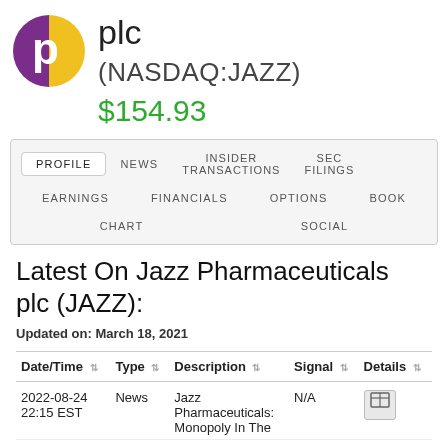[Figure (logo): Jazz Pharmaceuticals plc logo — circular icon with purple left half and gold/yellow right half showing stylized 'p', with 'plc' text to the right]
(NASDAQ:JAZZ)
$154.93
PROFILE  NEWS  INSIDER TRANSACTIONS  SEC FILINGS  EARNINGS  FINANCIALS  OPTIONS  BOOK  CHART  SOCIAL
Latest On Jazz Pharmaceuticals plc (JAZZ):
Updated on: March 18, 2021
| Date/Time | Type | Description | Signal | Details |
| --- | --- | --- | --- | --- |
| 2022-08-24 22:15 EST | News | Jazz Pharmaceuticals: Monopoly In The | N/A | [icon] |